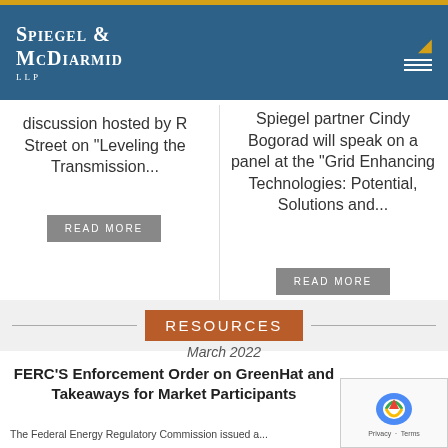Spiegel & McDiarmid LLP
discussion hosted by R Street on "Leveling the Transmission..."
READ MORE
Spiegel partner Cindy Bogorad will speak on a panel at the "Grid Enhancing Technologies: Potential, Solutions and..."
READ MORE
RESOURCES
March 2022
FERC'S Enforcement Order on GreenHat and Takeaways for Market Participants
The Federal Energy Regulatory Commission issued a...